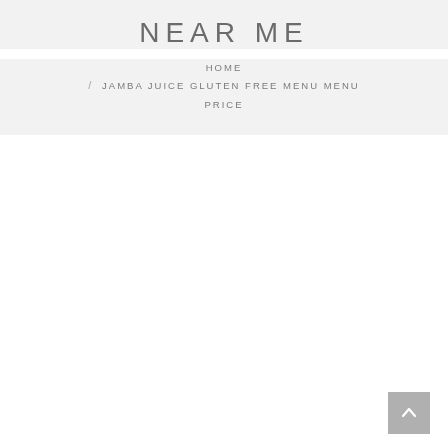NEAR ME
HOME / JAMBA JUICE GLUTEN FREE MENU MENU PRICE